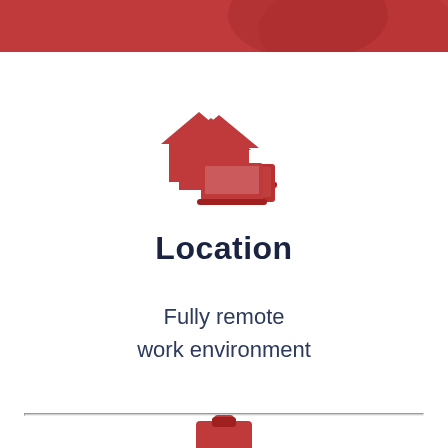[Figure (illustration): Red icon of a house with a laptop/monitor overlay, representing remote work or home office]
Location
Fully remote work environment
[Figure (illustration): Partial red clipboard or briefcase icon visible at bottom of page]